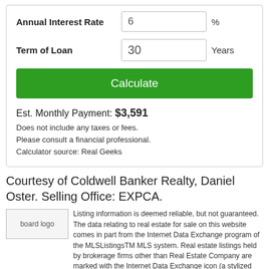Annual Interest Rate — input: 6 %
Term of Loan — input: 30 Years
Calculate
Est. Monthly Payment: $3,591
Does not include any taxes or fees.
Please consult a financial professional.
Calculator source: Real Geeks
Courtesy of Coldwell Banker Realty, Daniel Oster. Selling Office: EXPCA.
Listing information is deemed reliable, but not guaranteed. The data relating to real estate for sale on this website comes in part from the Internet Data Exchange program of the MLSListingsTM MLS system. Real estate listings held by brokerage firms other than Real Estate Company are marked with the Internet Data Exchange icon (a stylized house inside a circle) and detailed information about them includes the names of the listing brokers and listing agents. Copyright 2022 MLSListings. All rights reserved. This data is updated daily. Last updated 2022-08-29 at 0:56 pm